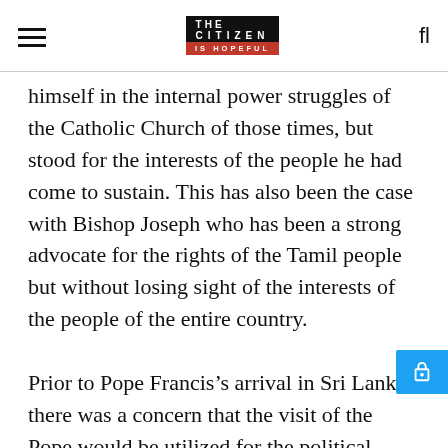THE CITIZEN IS HOPEFUL
himself in the internal power struggles of the Catholic Church of those times, but stood for the interests of the people he had come to sustain. This has also been the case with Bishop Joseph who has been a strong advocate for the rights of the Tamil people but without losing sight of the interests of the people of the entire country.
Prior to Pope Francis’s arrival in Sri Lanka, there was a concern that the visit of the Pope would be utilized for the political agenda of the then government. Some sections of civil and religious society even urged the postponement of the Holy Father’s visit, on the grounds